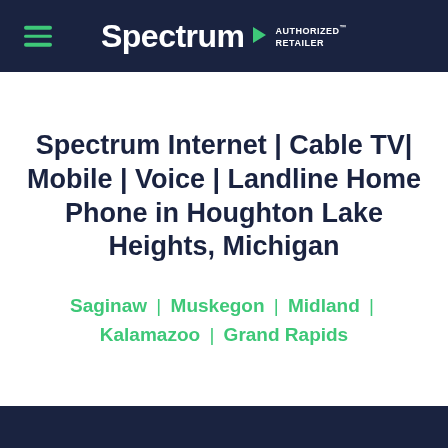Spectrum AUTHORIZED RETAILER
Spectrum Internet | Cable TV| Mobile | Voice | Landline Home Phone in Houghton Lake Heights, Michigan
Saginaw | Muskegon | Midland | Kalamazoo | Grand Rapids